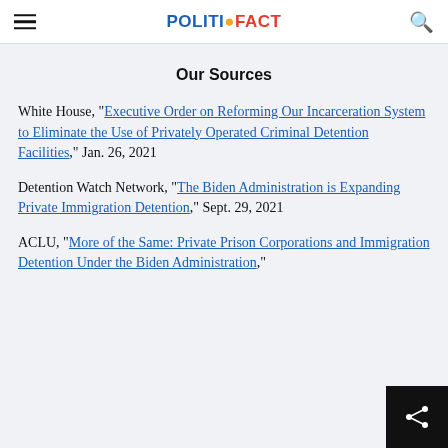POLITIFACT
Our Sources
White House, "Executive Order on Reforming Our Incarceration System to Eliminate the Use of Privately Operated Criminal Detention Facilities," Jan. 26, 2021
Detention Watch Network, "The Biden Administration is Expanding Private Immigration Detention," Sept. 29, 2021
ACLU, "More of the Same: Private Prison Corporations and Immigration Detention Under the Biden Administration,"